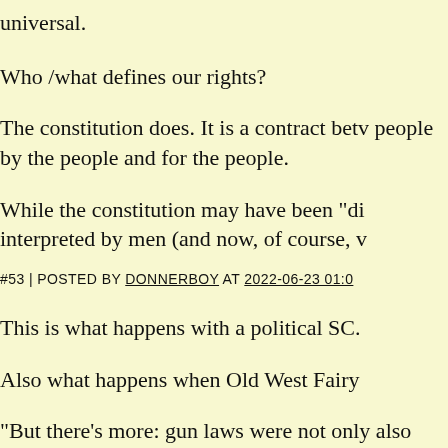universal.
Who /what defines our rights?
The constitution does. It is a contract betv people by the people and for the people.
While the constitution may have been "di interpreted by men (and now, of course, v
#53 | POSTED BY DONNERBOY AT 2022-06-23 01:0
This is what happens with a political SC.
Also what happens when Old West Fairy
"But there's more: gun laws were not only also spanned every conceivable category of regulation, from gun acquisiti including deprivation of use through outr regulations, to registration and express gu
For example, the contemporary raging dis automatic weapons that began in late 198 earlier, when at least seven states banned have been unknown to modern analysts u